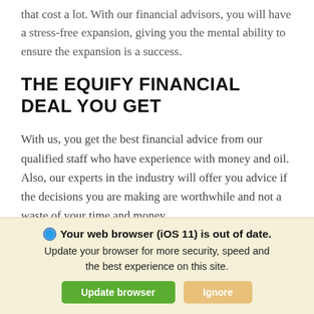that cost a lot. With our financial advisors, you will have a stress-free expansion, giving you the mental ability to ensure the expansion is a success.
THE EQUIFY FINANCIAL DEAL YOU GET
With us, you get the best financial advice from our qualified staff who have experience with money and oil. Also, our experts in the industry will offer you advice if the decisions you are making are worthwhile and not a waste of your time and money.
PURCHASING OF
Your web browser (iOS 11) is out of date. Update your browser for more security, speed and the best experience on this site.